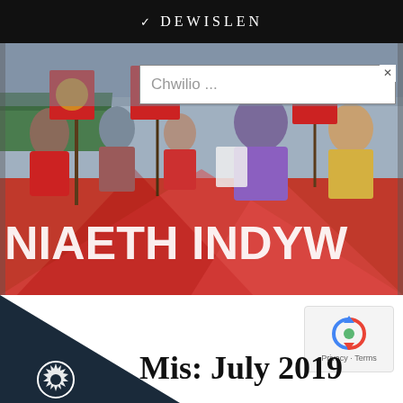DEWISLEN
[Figure (photo): Crowd of people at a rally or march, holding large red banners and flags. A prominent red banner reads 'NIAETH INDYWA' (partial text visible). People wearing union/political badges are visible in the background.]
Chwilio ...
Mis: July 2019